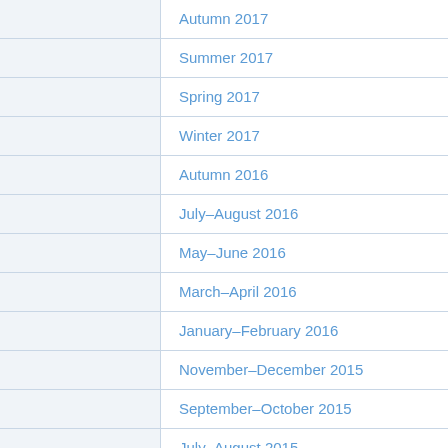Autumn 2017
Summer 2017
Spring 2017
Winter 2017
Autumn 2016
July–August 2016
May–June 2016
March–April 2016
January–February 2016
November–December 2015
September–October 2015
July–August 2015